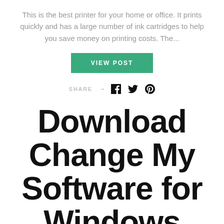This is the best printer for your home or office. It prints quickly and has a large number of ink cartridges to help you save money on printing costs. The...
VIEW POST
SHARE → [Facebook] [Twitter] [Pinterest]
Download Change My Software for Windows